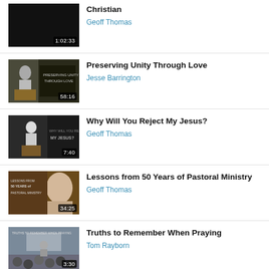[Figure (screenshot): Video thumbnail dark background with duration 1:02:33]
Christian
Geoff Thomas
[Figure (screenshot): Video thumbnail - Preserving Unity Through Love with speaker at podium, duration 58:16]
Preserving Unity Through Love
Jesse Barrington
[Figure (screenshot): Video thumbnail - Why Will You Reject My Jesus with elderly speaker, duration 7:40]
Why Will You Reject My Jesus?
Geoff Thomas
[Figure (screenshot): Video thumbnail - Lessons from 50 Years of Pastoral Ministry with speaker, duration 34:25]
Lessons from 50 Years of Pastoral Ministry
Geoff Thomas
[Figure (screenshot): Video thumbnail - Truths to Remember When Praying with audience, duration 3:30]
Truths to Remember When Praying
Tom Rayborn
[Figure (screenshot): Video thumbnail - Getting Out of the Boat, partial view]
Getting Out of the Boat